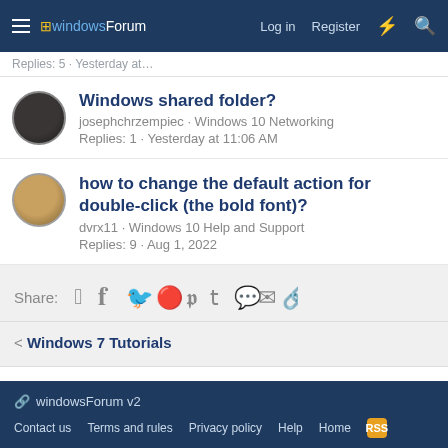windowsForum — Log in · Register
Replies: 5 · Yesterday at …
Windows shared folder?
josephchrzempiec · Windows 10 Networking
Replies: 1 · Yesterday at 11:06 AM
how to change the default action for double-click (the bold font)?
dvrx11 · Windows 10 Help and Support
Replies: 9 · Aug 1, 2022
Share: (social icons)
< Windows 7 Tutorials
windowsForum v2
Contact us · Terms and rules · Privacy policy · Help · Home